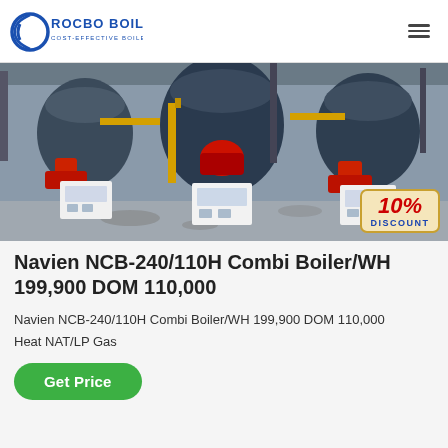ROCBO BOILER — COST-EFFECTIVE BOILER SUPPLIER
[Figure (photo): Industrial boiler installation showing three large blue cylindrical boilers with red burners and white control panels in a factory setting. A 10% DISCOUNT badge is overlaid in the bottom-right corner.]
Navien NCB-240/110H Combi Boiler/WH 199,900 DOM 110,000
Navien NCB-240/110H Combi Boiler/WH 199,900 DOM 110,000
Heat NAT/LP Gas
Get Price